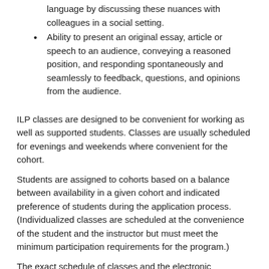language by discussing these nuances with colleagues in a social setting.
Ability to present an original essay, article or speech to an audience, conveying a reasoned position, and responding spontaneously and seamlessly to feedback, questions, and opinions from the audience.
ILP classes are designed to be convenient for working as well as supported students. Classes are usually scheduled for evenings and weekends where convenient for the cohort.
Students are assigned to cohorts based on a balance between availability in a given cohort and indicated preference of students during the application process. (Individualized classes are scheduled at the convenience of the student and the instructor but must meet the minimum participation requirements for the program.)
The exact schedule of classes and the electronic credentials needed for online access are provided to students in their Admissions Package.
ILP courses each run for 6 months (24 weeks).
EPP cohorts typically start the first (working) Monday